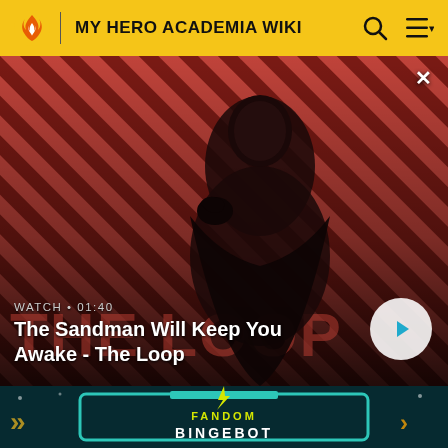MY HERO ACADEMIA WIKI
[Figure (screenshot): Video thumbnail showing a dark-cloaked figure with a raven on their shoulder against a red and black diagonal stripe background. Text overlay: WATCH • 01:40 / The Sandman Will Keep You Awake - The Loop. White circular play button on the right.]
[Figure (screenshot): Fandom Bingebot promotional banner with teal game-controller style frame, yellow lightning bolt, and the text FANDOM BINGEBOT on a dark teal background with decorative arrow and card elements.]